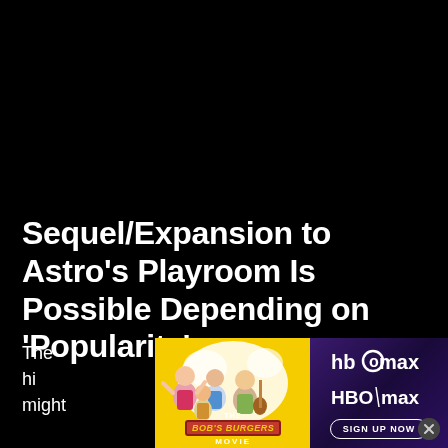Sequel/Expansion to Astro's Playroom Is Possible Depending on 'Popularity'
The hi… room, might … ough nothin… Edge magaz… o head Nicolas… re's no plan fo… nk it's goi… game.
[Figure (illustration): Advertisement showing Bob's Burgers Movie promotional image on yellow background (left) and HBO Max sign up now advertisement on purple/dark gradient background (right) with a close button]